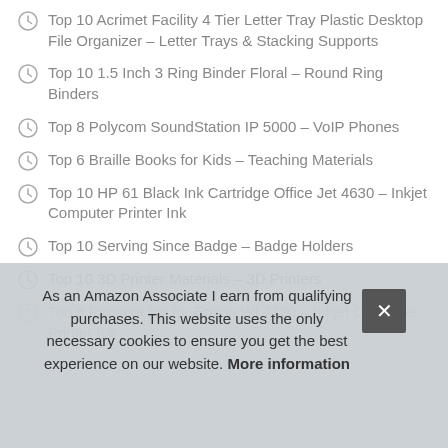Top 10 Acrimet Facility 4 Tier Letter Tray Plastic Desktop File Organizer – Letter Trays & Stacking Supports
Top 10 1.5 Inch 3 Ring Binder Floral – Round Ring Binders
Top 8 Polycom SoundStation IP 5000 – VoIP Phones
Top 6 Braille Books for Kids – Teaching Materials
Top 10 HP 61 Black Ink Cartridge Office Jet 4630 – Inkjet Computer Printer Ink
Top 10 Serving Since Badge – Badge Holders
Top 10 3D Printer Materials – 3D Printers
Top 8 Pigment Ink for Epson Wf 7720 – Inkjet Computer Printer Ink
As an Amazon Associate I earn from qualifying purchases. This website uses the only necessary cookies to ensure you get the best experience on our website. More information